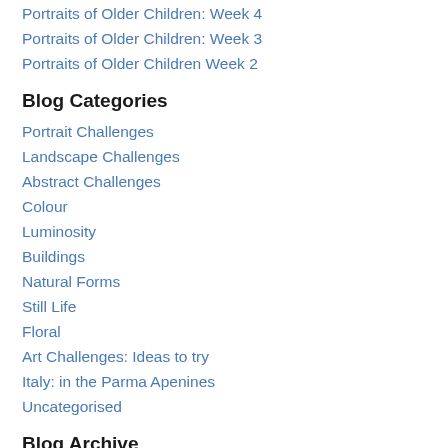Portraits of Older Children: Week 4
Portraits of Older Children: Week 3
Portraits of Older Children Week 2
Blog Categories
Portrait Challenges
Landscape Challenges
Abstract Challenges
Colour
Luminosity
Buildings
Natural Forms
Still Life
Floral
Art Challenges: Ideas to try
Italy: in the Parma Apenines
Uncategorised
Blog Archive